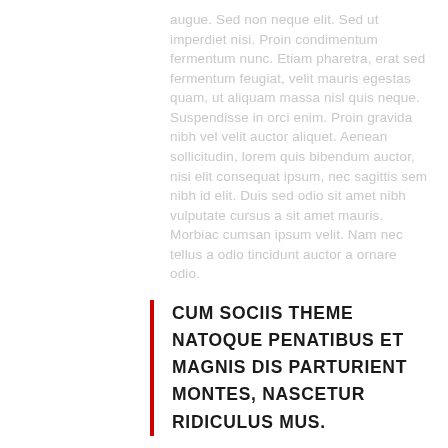augue. Sed non neque elit. Sed ut imperdiet nisi. Proin condimentum fermentum nunc. Etiam pharetra, erat sed fermentum feugiat, velit mauris egestas quam, ut aliquam massa nisl quis neque. Suspendisse in orci enim. Proin gravida nibh vel velit auctor aliquet. Aenean sollicitudin, lorem quis bibendum auctor, nisi elit consequat ipsum, nec sagittis sem nibh id elit. Duis sed odio sit amet nibh vulputate cursus a sit amet mauris. Morbiac cumsan ipsum velit. Nam nec tellus a odio tincidunt auctor a ornare odio.
CUM SOCIIS THEME NATOQUE PENATIBUS ET MAGNIS DIS PARTURIENT MONTES, NASCETUR RIDICULUS MUS.